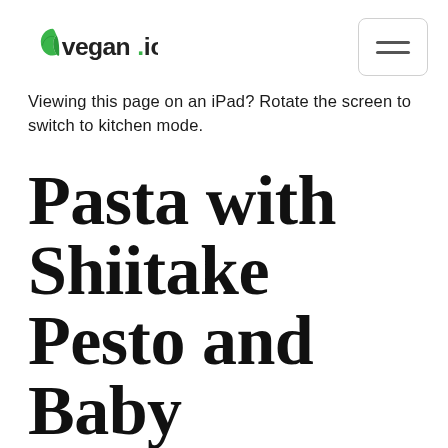vegan.io
Viewing this page on an iPad? Rotate the screen to switch to kitchen mode.
Pasta with Shiitake Pesto and Baby Spinach